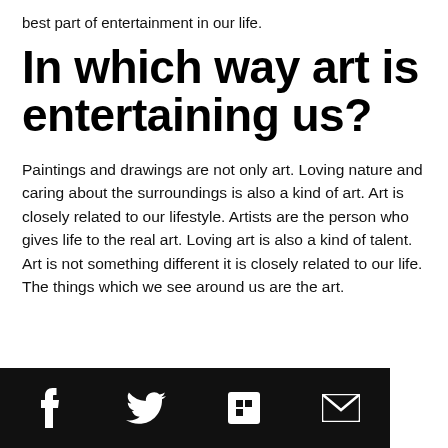best part of entertainment in our life.
In which way art is entertaining us?
Paintings and drawings are not only art. Loving nature and caring about the surroundings is also a kind of art. Art is closely related to our lifestyle. Artists are the person who gives life to the real art. Loving art is also a kind of talent. Art is not something different it is closely related to our life. The things which we see around us are the art.
Social media icons: Facebook, Twitter, Flipboard, Email